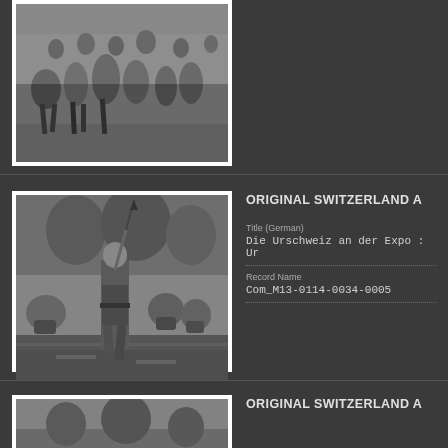[Figure (photo): Top partial black-and-white photograph of a parade or procession, people marching on a wet street, crowd visible in background]
[Figure (photo): Black-and-white photograph of a man in medieval costume holding a long pike/halberd, leading a marching band on a wet street, trees in background]
ORIGINAL SWITZERLAND A
Title (German)
Die Urschweiz an der Expo : Ur
Record Name
Com_M13-0114-0034-0005
[Figure (photo): Partial black-and-white photograph at bottom, partially cropped]
ORIGINAL SWITZERLAND A